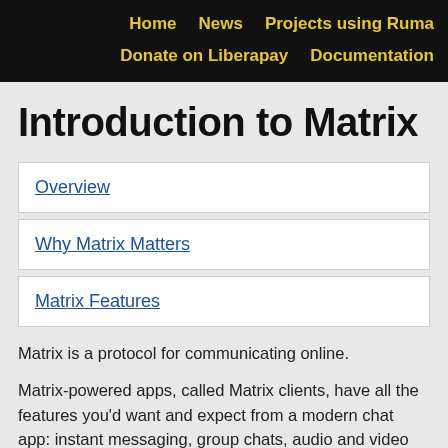Home   News   Projects using Ruma   Donate on Liberapay   Documentation
Introduction to Matrix
Overview
Why Matrix Matters
Matrix Features
Matrix is a protocol for communicating online.
Matrix-powered apps, called Matrix clients, have all the features you'd want and expect from a modern chat app: instant messaging, group chats, audio and video calls, searchable message history, synchronization across all your